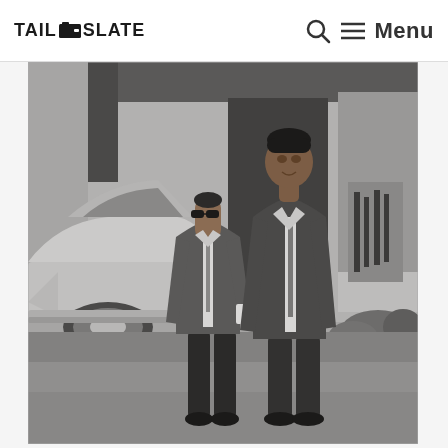TAIL SLATE — Search Menu
[Figure (photo): Black and white photograph of two men in suits standing outside near a vintage automobile and a building. The man on the left is shorter and wearing sunglasses and a tie. The man on the right is taller. Both are posing for the photo on a grass lawn.]